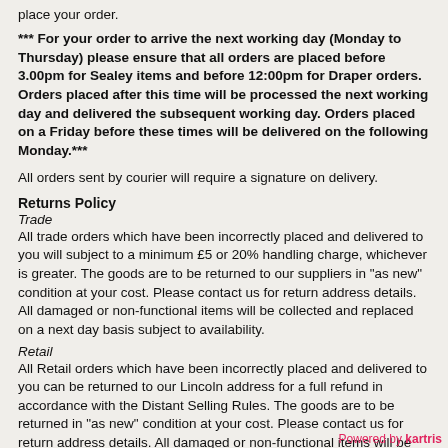place your order.
*** For your order to arrive the next working day (Monday to Thursday) please ensure that all orders are placed before 3.00pm for Sealey items and before 12:00pm for Draper orders. Orders placed after this time will be processed the next working day and delivered the subsequent working day. Orders placed on a Friday before these times will be delivered on the following Monday.***
All orders sent by courier will require a signature on delivery.
Returns Policy
Trade
All trade orders which have been incorrectly placed and delivered to you will subject to a minimum £5 or 20% handling charge, whichever is greater. The goods are to be returned to our suppliers in "as new" condition at your cost. Please contact us for return address details. All damaged or non-functional items will be collected and replaced on a next day basis subject to availability.
Retail
All Retail orders which have been incorrectly placed and delivered to you can be returned to our Lincoln address for a full refund in accordance with the Distant Selling Rules. The goods are to be returned in "as new" condition at your cost. Please contact us for return address details. All damaged or non-functional items will be collected and replaced on a next day basis subject to availability.
Refunds for returned items are made within 7 working d
Powered by kartris